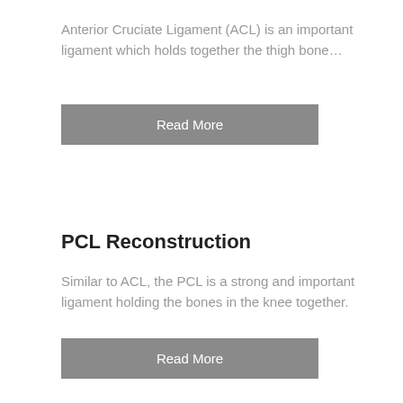Anterior Cruciate Ligament (ACL) is an important ligament which holds together the thigh bone…
Read More
PCL Reconstruction
Similar to ACL, the PCL is a strong and important ligament holding the bones in the knee together.
Read More